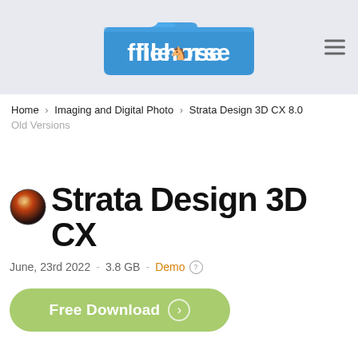filehorse
Home > Imaging and Digital Photo > Strata Design 3D CX 8.0
Old Versions
Strata Design 3D CX
June, 23rd 2022  -  3.8 GB  -  Demo
Free Download